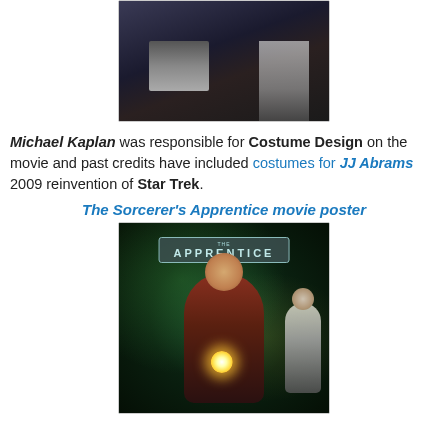[Figure (photo): Partial photo showing feet/shoes and clothing near display boxes with text, dark background]
Michael Kaplan was responsible for Costume Design on the movie and past credits have included costumes for JJ Abrams 2009 reinvention of Star Trek.
The Sorcerer's Apprentice movie poster
[Figure (photo): Movie poster for The Sorcerer's Apprentice (The Apprentice) showing a young man in a red jacket with a glowing orb in his hand in a green-lit underground setting, with a blonde woman in the background]